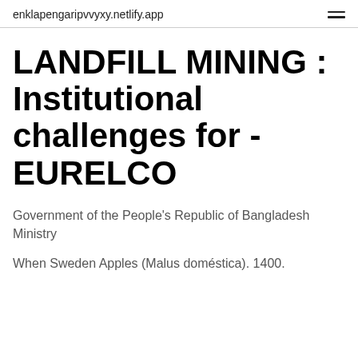enklapengaripvvyxy.netlify.app
LANDFILL MINING : Institutional challenges for - EURELCO
Government of the People's Republic of Bangladesh Ministry
When Sweden Apples (Malus doméstica). 1400.